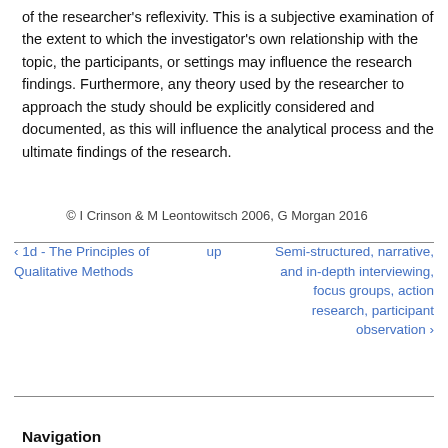of the researcher's reflexivity. This is a subjective examination of the extent to which the investigator's own relationship with the topic, the participants, or settings may influence the research findings. Furthermore, any theory used by the researcher to approach the study should be explicitly considered and documented, as this will influence the analytical process and the ultimate findings of the research.
© I Crinson & M Leontowitsch 2006, G Morgan 2016
‹ 1d - The Principles of Qualitative Methods
up
Semi-structured, narrative, and in-depth interviewing, focus groups, action research, participant observation ›
Navigation